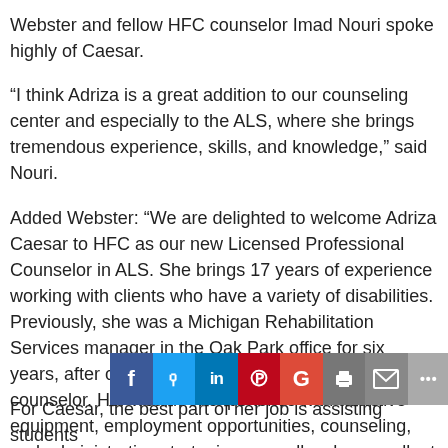Webster and fellow HFC counselor Imad Nouri spoke highly of Caesar.
“I think Adriza is a great addition to our counseling center and especially to the ALS, where she brings tremendous experience, skills, and knowledge,” said Nouri.
Added Webster: “We are delighted to welcome Adriza Caesar to HFC as our new Licensed Professional Counselor in ALS. She brings 17 years of experience working with clients who have a variety of disabilities. Previously, she was a Michigan Rehabilitation Services manager in the Oak Park office for six years, after completing 11 years as an MRS counselor. Her wealth of experience with adaptive equipment, employment opportunities, counseling, and administrative strategies, as well as her excellent communication skills, make her a perfe
[Figure (infographic): Social media sharing bar with icons for Facebook, Twitter, LinkedIn, Pinterest, Google, Print, Email, and More (...)]
For Caesar, the best part of her job is assisting students